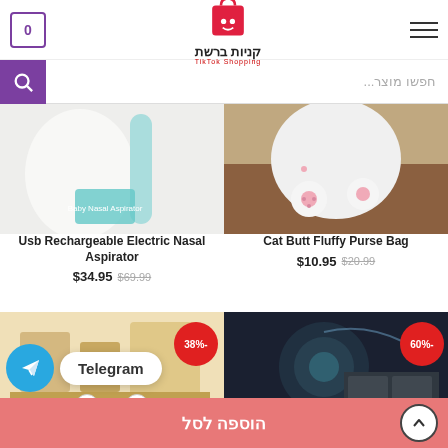קניות ברשת - shopping website header with cart icon, logo, and hamburger menu
חפשו מוצר...
[Figure (photo): Product photo: Usb Rechargeable Electric Nasal Aspirator with label overlay 'Baby Nasal Aspirator']
Usb Rechargeable Electric Nasal Aspirator
$34.95  $69.99
[Figure (photo): Product photo: Cat Butt Fluffy Purse Bag - white fluffy cat-shaped bag]
Cat Butt Fluffy Purse Bag
$10.95  $20.99
[Figure (photo): Product photo: furniture/storage item with 38%- discount badge]
[Figure (photo): Product photo: humidifier/dark background item with 60%- discount badge]
Telegram
הוספה לסל